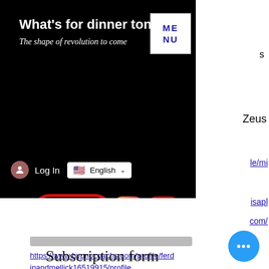[Figure (screenshot): Website header screenshot on black background showing site title 'What's for dinner tonight?', subtitle 'The shape of revolution to come', a MENU box, Log In button, language selector, Contact button, Instagram icon, YouTube icon, and shopping cart icon]
s
Zeus
le/mi
isapl
com/
https://www.hypnocoachs.com/profile/ferdinandmellick16519915/profile
Subscription form